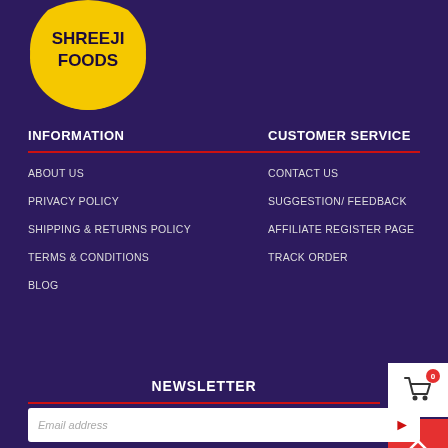[Figure (logo): Shreeji Foods logo — yellow teardrop/blob shape with bold black text SHREEJI FOODS]
INFORMATION
ABOUT US
PRIVACY POLICY
SHIPPING & RETURNS POLICY
TERMS & CONDITIONS
BLOG
CUSTOMER SERVICE
CONTACT US
SUGGESTION/ FEEDBACK
AFFILIATE REGISTER PAGE
TRACK ORDER
NEWSLETTER
Email address